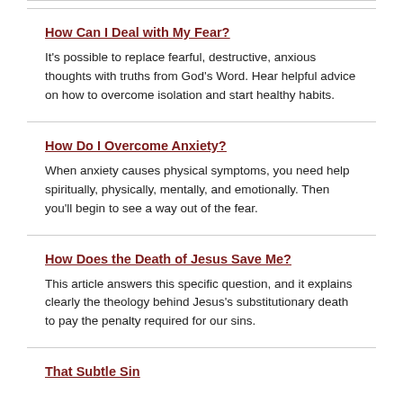How Can I Deal with My Fear?
It's possible to replace fearful, destructive, anxious thoughts with truths from God's Word. Hear helpful advice on how to overcome isolation and start healthy habits.
How Do I Overcome Anxiety?
When anxiety causes physical symptoms, you need help spiritually, physically, mentally, and emotionally. Then you'll begin to see a way out of the fear.
How Does the Death of Jesus Save Me?
This article answers this specific question, and it explains clearly the theology behind Jesus's substitutionary death to pay the penalty required for our sins.
That Subtle Sin